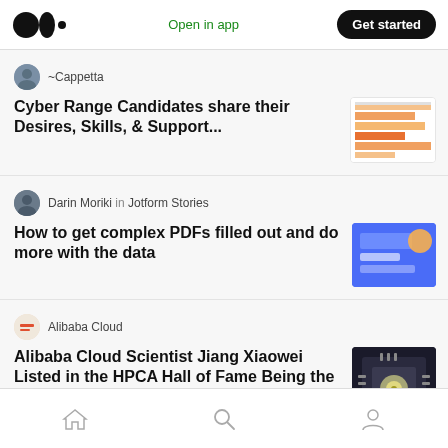Medium app header with logo, Open in app, Get started
~Cappetta — Cyber Range Candidates share their Desires, Skills, & Support...
Darin Moriki in Jotform Stories — How to get complex PDFs filled out and do more with the data
Alibaba Cloud — Alibaba Cloud Scientist Jiang Xiaowei Listed in the HPCA Hall of Fame Being the First Inductee...
Home | Search | Profile navigation icons